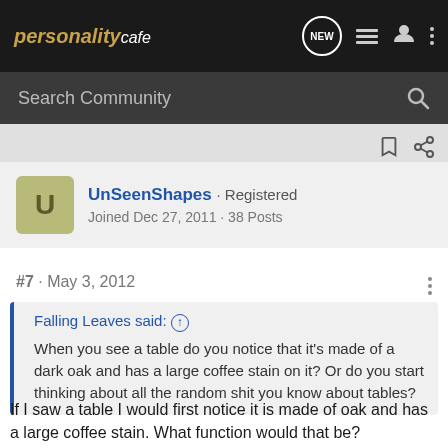personality cafe
Search Community
UnSeenShapes · Registered
Joined Dec 27, 2011 · 38 Posts
#7 · May 3, 2012
Falling Leaves said: ↑
When you see a table do you notice that it's made of a dark oak and has a large coffee stain on it? Or do you start thinking about all the random shit you know about tables?
If I saw a table I would first notice it is made of oak and has a large coffee stain. What function would that be?